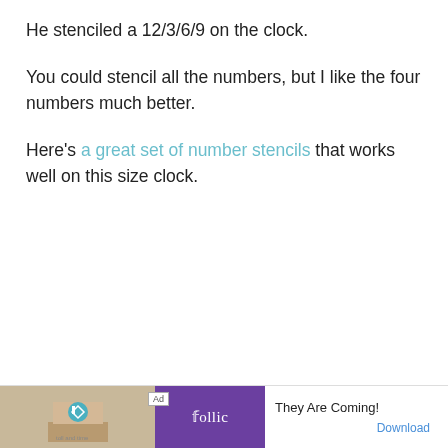He stenciled a 12/3/6/9 on the clock.
You could stencil all the numbers, but I like the four numbers much better.
Here's a great set of number stencils that works well on this size clock.
[Figure (other): Advertisement banner at the bottom of the page showing a Follic game ad with 'They Are Coming!' text and a Download button.]